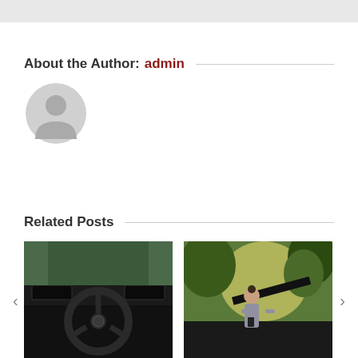About the Author: admin
[Figure (illustration): Gray placeholder avatar icon showing a generic user silhouette]
Related Posts
[Figure (photo): Interior of a car showing the steering wheel and dashboard]
[Figure (photo): Young woman standing in front of a car with hood open, using a phone]